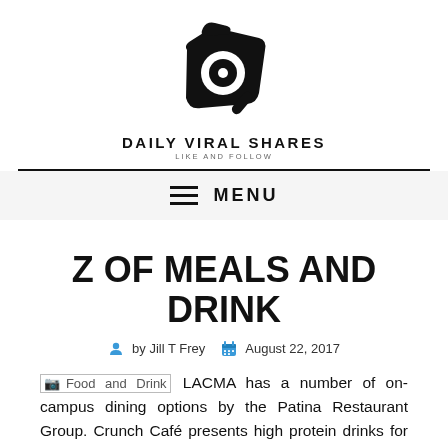[Figure (logo): Daily Viral Shares logo: a camera/magnifying glass icon in black]
DAILY VIRAL SHARES
LIKE AND FOLLOW
MENU
Z OF MEALS AND DRINK
by Jill T Frey   August 22, 2017
[Food and Drink image] LACMA has a number of on-campus dining options by the Patina Restaurant Group. Crunch Café presents high protein drinks for fitness lovers in addition to a